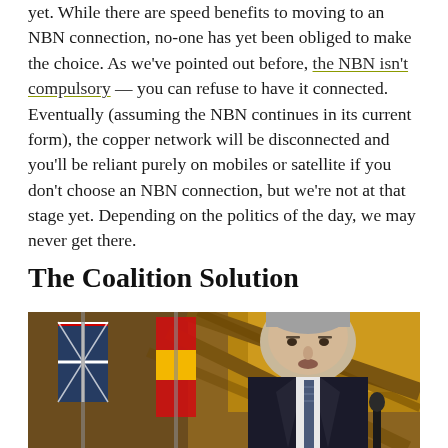yet. While there are speed benefits to moving to an NBN connection, no-one has yet been obliged to make the choice. As we've pointed out before, the NBN isn't compulsory — you can refuse to have it connected. Eventually (assuming the NBN continues in its current form), the copper network will be disconnected and you'll be reliant purely on mobiles or satellite if you don't choose an NBN connection, but we're not at that stage yet. Depending on the politics of the day, we may never get there.
The Coalition Solution
[Figure (photo): Photo of a man in a dark suit and striped tie speaking at a podium or event, with Australian and other flags in the background, against a warm golden/amber background.]